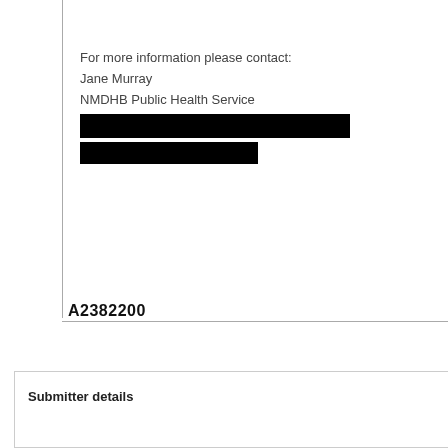For more information please contact:
Jane Murray
NMDHB Public Health Service
[redacted]
[redacted]
A2382200
Submitter details